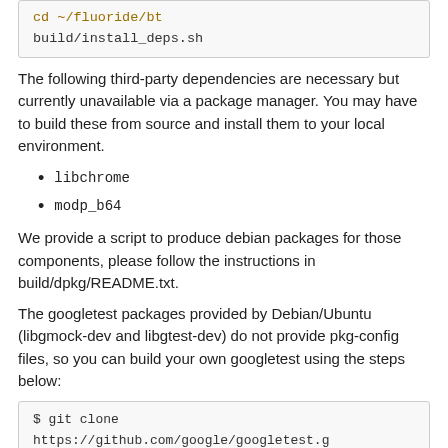[Figure (screenshot): Code block showing: cd ~/fluoride/bt
build/install_deps.sh]
The following third-party dependencies are necessary but currently unavailable via a package manager. You may have to build these from source and install them to your local environment.
libchrome
modp_b64
We provide a script to produce debian packages for those components, please follow the instructions in build/dpkg/README.txt.
The googletest packages provided by Debian/Ubuntu (libgmock-dev and libgtest-dev) do not provide pkg-config files, so you can build your own googletest using the steps below:
[Figure (screenshot): Code block showing: $ git clone https://github.com/google/googletest.g
$ cd googletest        # Main directory of the cl
$ mkdir build          # Create a directory to ho
$ cd build]